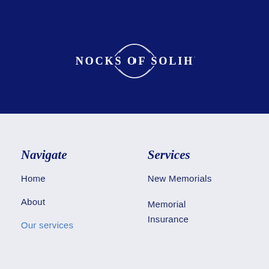[Figure (logo): Bannocks Of Solihull logo — white bold uppercase text with decorative arc curves above and below, on a dark navy blue background]
Navigate
Services
Home
About
Our services
New Memorials
Memorial Insurance